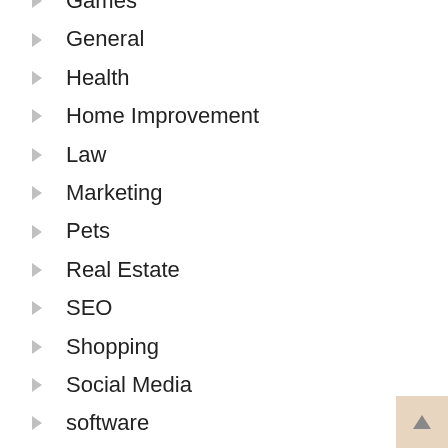Games
General
Health
Home Improvement
Law
Marketing
Pets
Real Estate
SEO
Shopping
Social Media
software